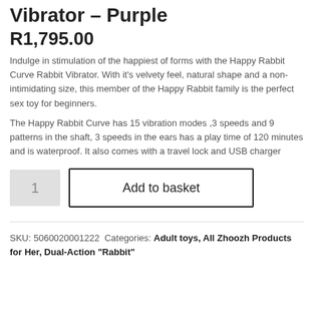Vibrator – Purple
R1,795.00
Indulge in stimulation of the happiest of forms with the Happy Rabbit Curve Rabbit Vibrator. With it's velvety feel, natural shape and a non-intimidating size, this member of the Happy Rabbit family is the perfect sex toy for beginners.
The Happy Rabbit Curve has 15 vibration modes ,3 speeds and 9 patterns in the shaft, 3 speeds in the ears has a play time of 120 minutes and is waterproof. It also comes with a travel lock and USB charger
SKU: 5060020001222  Categories: Adult toys, All Zhoozh Products for Her, Dual-Action "Rabbit"